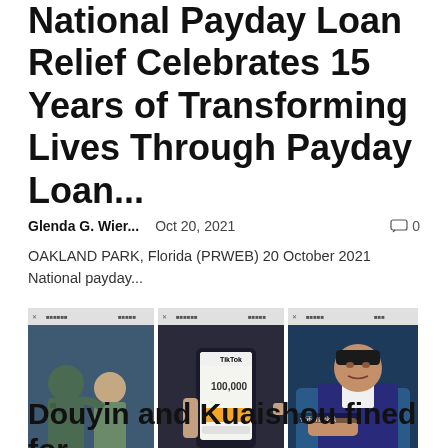National Payday Loan Relief Celebrates 15 Years of Transforming Lives Through Payday Loan...
Glenda G. Wier...   Oct 20, 2021   🗨 0
OAKLAND PARK, Florida (PRWEB) 20 October 2021 National payday...
[Figure (photo): Three side-by-side screenshots from TikTok-style mobile app videos: left shows two men in military uniform, center shows a hand holding a phone displaying a loan amount of 100,000, right shows a man in a blue suit sitting in a chair with a yellow downward arrow overlay.]
Douyin and Kuaishou fined for advertising misleading...